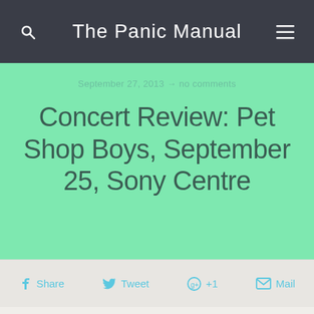The Panic Manual
September 27, 2013 → no comments
Concert Review: Pet Shop Boys, September 25, Sony Centre
Share  Tweet  +1  Mail